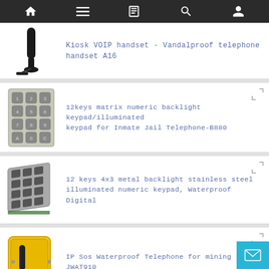Navigation bar with home, menu, book, search, and user icons
[Figure (photo): Black kiosk VOIP telephone handset on a stand]
Kiosk VOIP handset - Vandalproof telephone handset A16
[Figure (photo): Metal numeric keypad with 12 keys in a 4x3 grid, labeled 1-9, A, 0, C]
12keys matrix numeric backlight keypad/illuminated keypad for Inmate Jail Telephone-B880
[Figure (photo): 12-key metal backlight stainless steel numeric keypad angled view]
12 keys 4x3 metal backlight stainless steel illuminated numeric keypad, Waterproof Digital
[Figure (photo): Yellow IP SOS waterproof telephone unit for mining, open showing handset]
IP Sos Waterproof Telephone for mining JWAT910